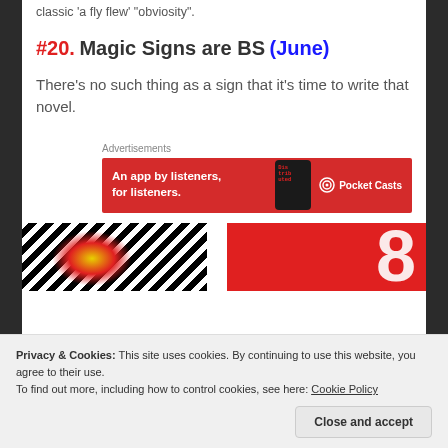classic 'a fly flew' "obviosity".
#20. Magic Signs are BS (June)
There's no such thing as a sign that it's time to write that novel.
Advertisements
[Figure (other): Pocket Casts advertisement banner: red background with text 'An app by listeners, for listeners.' and Pocket Casts logo]
[Figure (other): Two partial images at bottom: left shows black and white striped pattern with colorful splash, right shows red background with large white number 8]
Privacy & Cookies: This site uses cookies. By continuing to use this website, you agree to their use.
To find out more, including how to control cookies, see here: Cookie Policy
Close and accept